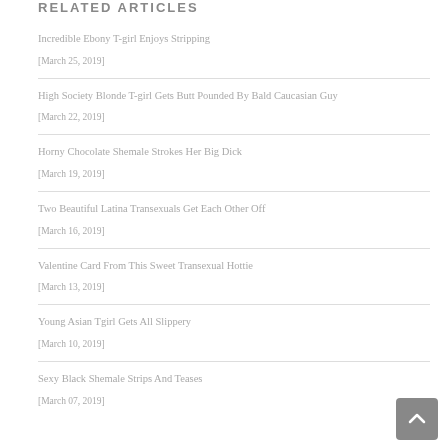RELATED ARTICLES
Incredible Ebony T-girl Enjoys Stripping
[March 25, 2019]
High Society Blonde T-girl Gets Butt Pounded By Bald Caucasian Guy
[March 22, 2019]
Horny Chocolate Shemale Strokes Her Big Dick
[March 19, 2019]
Two Beautiful Latina Transexuals Get Each Other Off
[March 16, 2019]
Valentine Card From This Sweet Transexual Hottie
[March 13, 2019]
Young Asian Tgirl Gets All Slippery
[March 10, 2019]
Sexy Black Shemale Strips And Teases
[March 07, 2019]